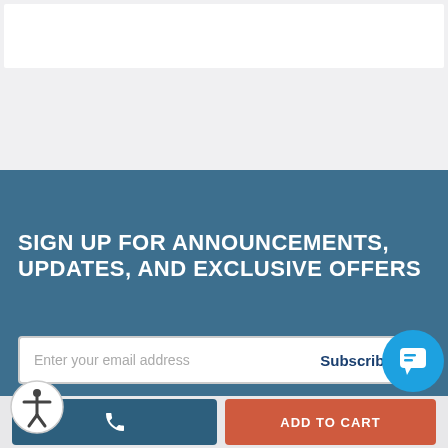[Figure (screenshot): White bar element at top of page on gray background]
SIGN UP FOR ANNOUNCEMENTS, UPDATES, AND EXCLUSIVE OFFERS
[Figure (other): Email input field with placeholder 'Enter your email address' and Subscribe button, plus circular chat bubble icon]
[Figure (other): Bottom bar with phone button (blue) on left and ADD TO CART button (orange/red) on right, accessibility icon overlay]